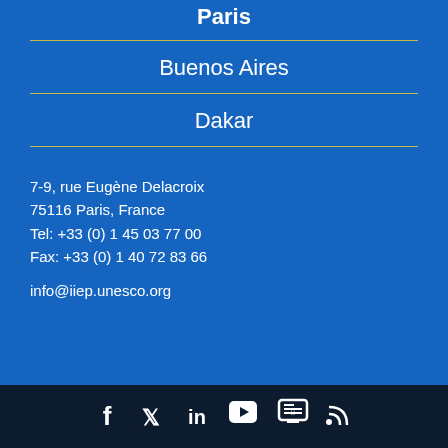Paris
Buenos Aires
Dakar
7-9, rue Eugène Delacroix
75116 Paris, France
Tel: +33 (0) 1 45 03 77 00
Fax: +33 (0) 1 40 72 83 66
info@iiep.unesco.org
[Figure (infographic): Social media icons row: Facebook, Twitter, LinkedIn, YouTube, SlideShare/Slideshare, RSS feed]